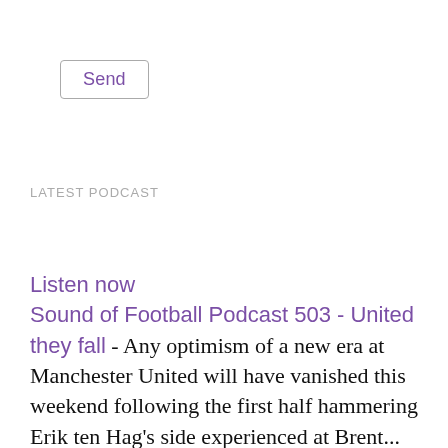[Figure (screenshot): A button labeled 'Send' with a rounded rectangle border in grey, text in purple color.]
LATEST PODCAST
Listen now
Sound of Football Podcast 503 - United they fall - Any optimism of a new era at Manchester United will have vanished this weekend following the first half hammering Erik ten Hag's side experienced at Brent...